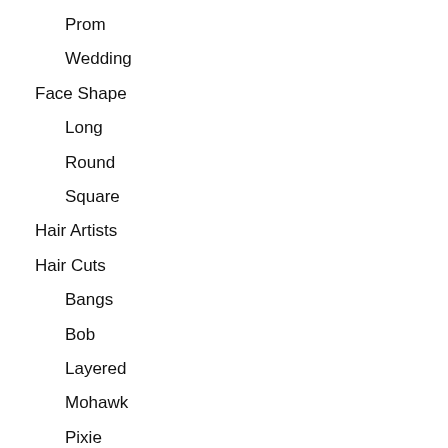Prom
Wedding
Face Shape
Long
Round
Square
Hair Artists
Hair Cuts
Bangs
Bob
Layered
Mohawk
Pixie
Shag
Hair Salons